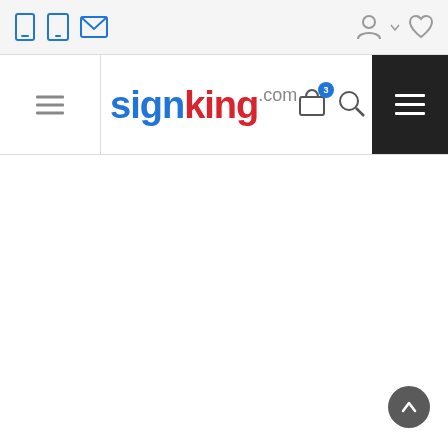[Figure (screenshot): SignKing.com website header screenshot showing top utility bar with mobile/tablet/email icons, user account icon, and wishlist icon on right; main navigation bar with hamburger menu on left, SignKing.com logo in center, shopping cart with badge of 3, search icon, and black menu button on right; white content area below; back-to-top arrow button at bottom right.]